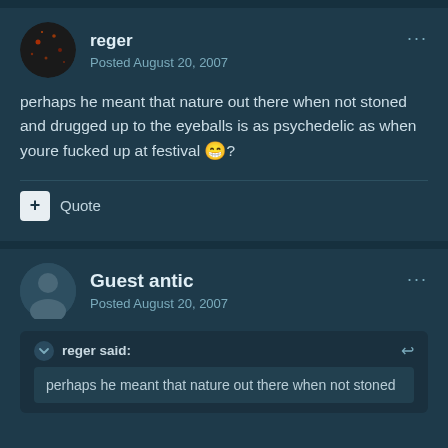reger
Posted August 20, 2007
perhaps he meant that nature out there when not stoned and drugged up to the eyeballs is as psychedelic as when youre fucked up at festival 😁?
+ Quote
Guest antic
Posted August 20, 2007
reger said:
perhaps he meant that nature out there when not stoned